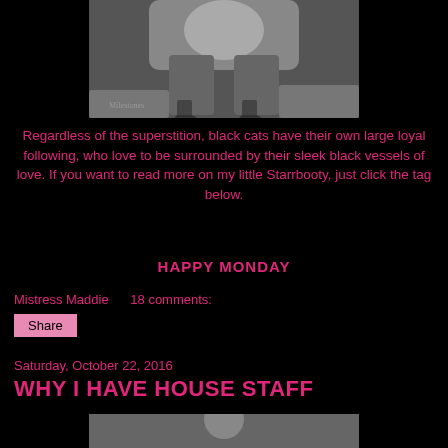[Figure (photo): Black and white photo of a woman's legs in high heels, sitting on what appears to be a surface, cropped view from thighs down]
Regardless of the superstition, black cats have their own large loyal following, who love to be surrounded by their sleek black vessels of love. If you want to read more on my little Starrbooty, just click the tag below.
HAPPY MONDAY
Mistress Maddie     18 comments:
Share
Saturday, October 22, 2016
WHY I HAVE HOUSE STAFF
[Figure (photo): Black and white photo, partially visible at bottom of page]